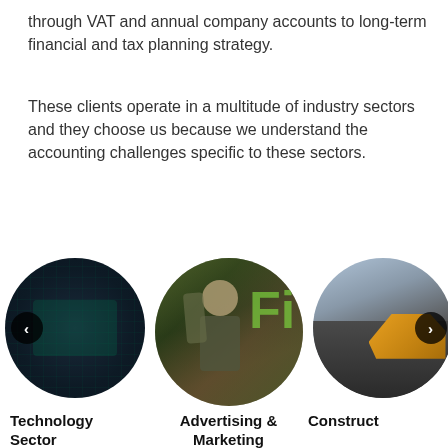through VAT and annual company accounts to long-term financial and tax planning strategy.
These clients operate in a multitude of industry sectors and they choose us because we understand the accounting challenges specific to these sectors.
[Figure (photo): Three circular images side by side: left shows a circuit board (Technology Sector), center shows people at an advertising/marketing event with green signage, right shows a construction excavator. Navigation arrows overlay the left and right circles. Labels below read: Technology Sector, Advertising & Marketing, Construct[ion].]